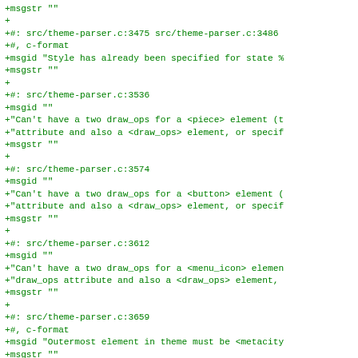+msgstr ""
+
+#: src/theme-parser.c:3475 src/theme-parser.c:3486
+#, c-format
+msgid "Style has already been specified for state %
+msgstr ""
+
+#: src/theme-parser.c:3536
+msgid ""
+"Can't have a two draw_ops for a <piece> element (t
+"attribute and also a <draw_ops> element, or specif
+msgstr ""
+
+#: src/theme-parser.c:3574
+msgid ""
+"Can't have a two draw_ops for a <button> element (
+"attribute and also a <draw_ops> element, or specif
+msgstr ""
+
+#: src/theme-parser.c:3612
+msgid ""
+"Can't have a two draw_ops for a <menu_icon> elemen
+"draw_ops attribute and also a <draw_ops> element,
+msgstr ""
+
+#: src/theme-parser.c:3659
+#, c-format
+msgid "Outermost element in theme must be <metacity
+msgstr ""
+